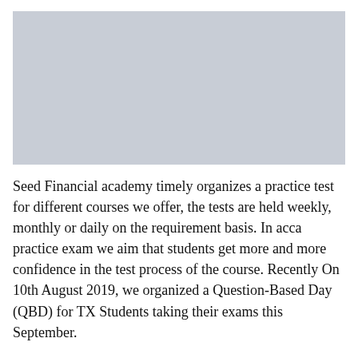[Figure (photo): Gray placeholder image block at the top of the page]
Seed Financial academy timely organizes a practice test for different courses we offer, the tests are held weekly, monthly or daily on the requirement basis. In acca practice exam we aim that students get more and more confidence in the test process of the course. Recently On 10th August 2019, we organized a Question-Based Day (QBD) for TX Students taking their exams this September.